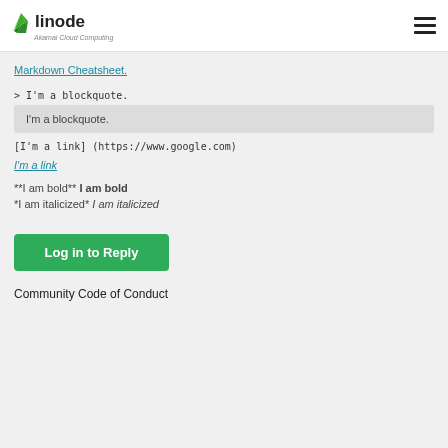linode — Akamai Cloud Computing
Markdown Cheatsheet.
> I'm a blockquote.
I'm a blockquote.
[I'm a link] (https://www.google.com)
I'm a link
**I am bold** I am bold
*I am italicized* I am italicized
Log in to Reply
Community Code of Conduct